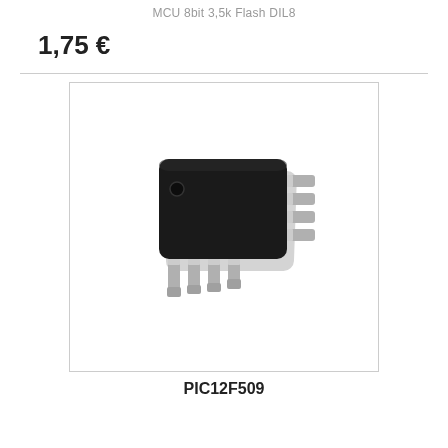MCU 8bit 3,5k Flash DIL8
1,75 €
[Figure (photo): Photo of a PIC12F509 DIP-8 microcontroller IC chip in black plastic package with 8 metal leads on a white background]
PIC12F509